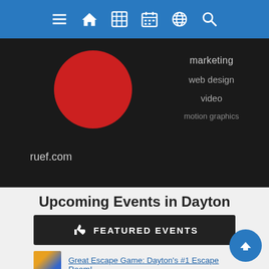Navigation bar with menu, home, grid, calendar, globe, search icons
[Figure (screenshot): Dark banner showing ruef.com logo with red circle and services: marketing, web design, video, motion graphics]
Upcoming Events in Dayton
FEATURED EVENTS
Great Escape Game: Dayton's #1 Escape Room!
Trans Am Cruise In
Van Gogh and European Landscapes
Wild Axe Throwing OPEN in Beavercreek